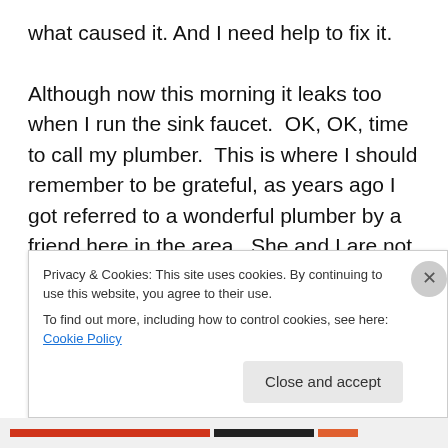what caused it. And I need help to fix it.

Although now this morning it leaks too when I run the sink faucet.  OK, OK, time to call my plumber.  This is where I should remember to be grateful, as years ago I got referred to a wonderful plumber by a friend here in the area.  She and I are not in contact any longer sadly (no drama – people sometimes come and go in our lives and it's OK), but R the plumber has been my hero quite a few times here in the townhouse, and I've referred him to a couple of friends with great success.  See my Refrigerator
Privacy & Cookies: This site uses cookies. By continuing to use this website, you agree to their use.
To find out more, including how to control cookies, see here: Cookie Policy
Close and accept